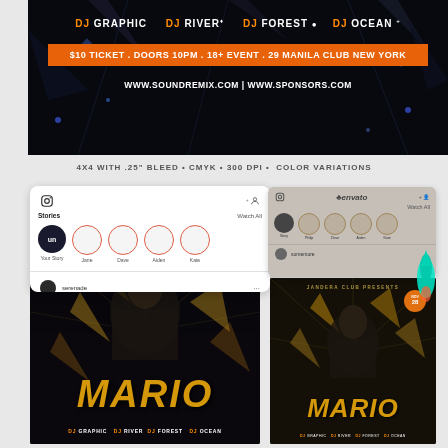[Figure (illustration): Dark nightclub event flyer showing DJ names (DJ GRAPHIC, DJ RIVER, DJ FOREST, DJ OCEAN), orange ticket bar with event details ($10 TICKET . DOORS 10PM . 18+ EVENT . 29 MANILA CLUB NEW YORK), website URLs (WWW.SOUNDREMIX.COM | WWW.SPONSORS.COM), against a dark background with geometric light patterns]
4X4 WITH .25" BLEED • CMYK • 300 DPI • COLOR VARIATIONS
[Figure (screenshot): Instagram Stories mockup showing camera icon, add icon, Stories label, Watch All link, circular story icons for Your Story, Jane, Dave, Aiden, Kate, and a post row with serenade account]
[Figure (illustration): Main nightclub flyer featuring JANDERA CLUB PRESENTS, man's portrait with golden geometric shards, NOV 28 badge, large MARIO text in gold italic, DJ GRAPHIC DJ RIVER DJ FOREST DJ OCEAN at bottom]
[Figure (screenshot): Secondary Instagram mockup overlay in gray/brown tones with story circles for Your Story, Philip, Dave, Aiden, Kate]
[Figure (illustration): Smaller color variation of nightclub flyer with darker/warmer tones, JANDERA CLUB PRESENTS, MARIO gold text, NOV 28 badge, DJ names at bottom, with cyan rocket decoration element]